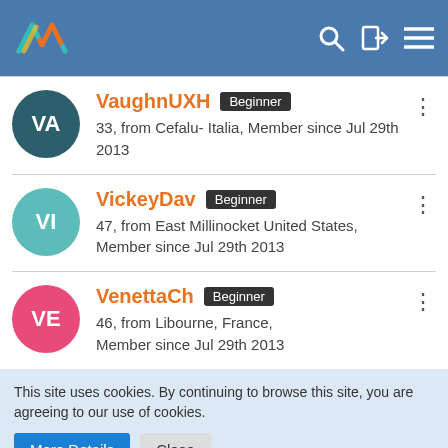Navigation header with logo, search, login, and menu icons
VaughnUXH Beginner — 33, from Cefalu- Italia, Member since Jul 29th 2013
VickeyDav Beginner — 47, from East Millinocket United States, Member since Jul 29th 2013
VenettaCh Beginner — 46, from Libourne, France, Member since Jul 29th 2013
This site uses cookies. By continuing to browse this site, you are agreeing to our use of cookies.
More Details   Close
internetstones.com in the WSC-Connect App on the App Store   Download